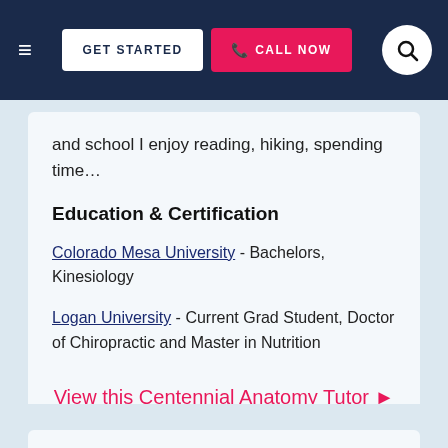GET STARTED | CALL NOW
and school I enjoy reading, hiking, spending time…
Education & Certification
Colorado Mesa University - Bachelors, Kinesiology
Logan University - Current Grad Student, Doctor of Chiropractic and Master in Nutrition
View this Centennial Anatomy Tutor ▶